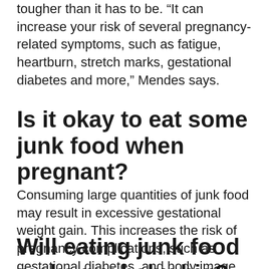tougher than it has to be. “It can increase your risk of several pregnancy-related symptoms, such as fatigue, heartburn, stretch marks, gestational diabetes and more,” Mendes says.
Is it okay to eat some junk food when pregnant?
Consuming large quantities of junk food may result in excessive gestational weight gain. This increases the risk of pregnancy complications, such as gestational diabetes, and body image issues.
Will eating junk food make my baby big?